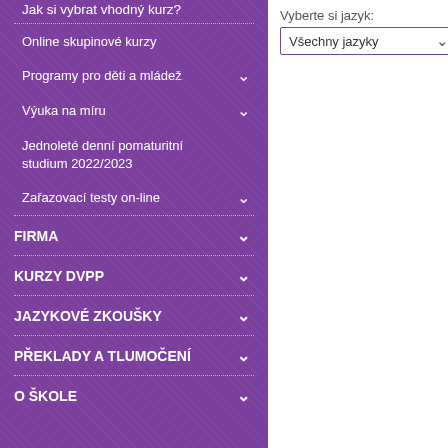Jak si vybrat vhodný kurz?
Online skupinové kurzy
Programy pro děti a mládež
Výuka na míru
Jednoleté denní pomaturitní studium 2022/2023
Zařazovací testy on-line
FIRMA
KURZY DVPP
JAZYKOVÉ ZKOUŠKY
PŘEKLADY A TLUMOČENÍ
O ŠKOLE
Vyberte si jazyk:
Všechny jazyky